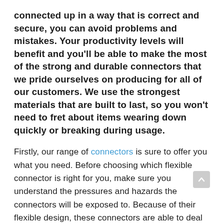connected up in a way that is correct and secure, you can avoid problems and mistakes. Your productivity levels will benefit and you'll be able to make the most of the strong and durable connectors that we pride ourselves on producing for all of our customers. We use the strongest materials that are built to last, so you won't need to fret about items wearing down quickly or breaking during usage.
Firstly, our range of connectors is sure to offer you what you need. Before choosing which flexible connector is right for you, make sure you understand the pressures and hazards the connectors will be exposed to. Because of their flexible design, these connectors are able to deal with motion and movement without breaking, which is really important. Also there are other design features that we can make suited to particular applications. They're